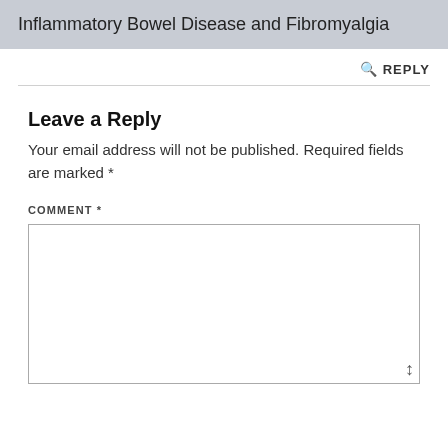Inflammatory Bowel Disease and Fibromyalgia
REPLY
Leave a Reply
Your email address will not be published. Required fields are marked *
COMMENT *